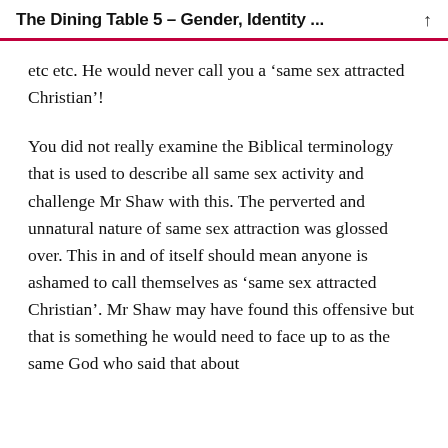The Dining Table 5 – Gender, Identity …
etc etc. He would never call you a ‘same sex attracted Christian’!
You did not really examine the Biblical terminology that is used to describe all same sex activity and challenge Mr Shaw with this. The perverted and unnatural nature of same sex attraction was glossed over. This in and of itself should mean anyone is ashamed to call themselves as ‘same sex attracted Christian’. Mr Shaw may have found this offensive but that is something he would need to face up to as the same God who said that about